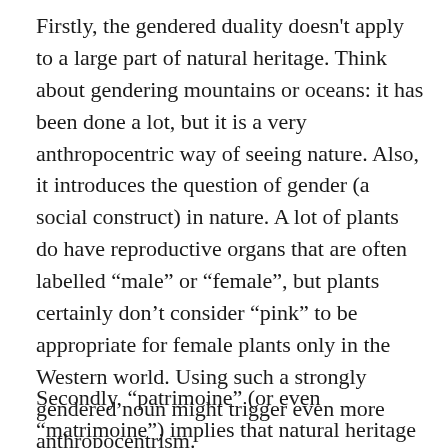Firstly, the gendered duality doesn't apply to a large part of natural heritage. Think about gendering mountains or oceans: it has been done a lot, but it is a very anthropocentric way of seeing nature. Also, it introduces the question of gender (a social construct) in nature. A lot of plants do have reproductive organs that are often labelled “male” or “female”, but plants certainly don’t consider “pink” to be appropriate for female plants only in the Western world. Using such a strongly gendered noun might trigger even more anthropocentrism.
Secondly, “patrimoine” (or even “matrimoine”) implies that natural heritage is